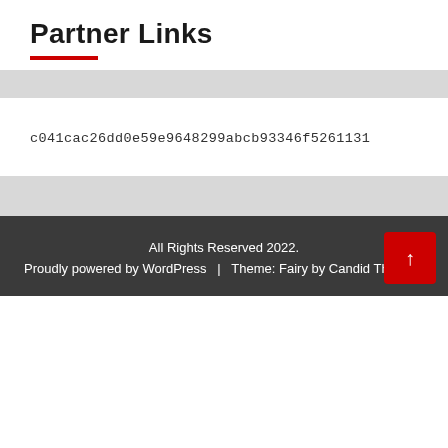Partner Links
c041cac26dd0e59e9648299abcb93346f5261131
All Rights Reserved 2022. Proudly powered by WordPress | Theme: Fairy by Candid Themes.